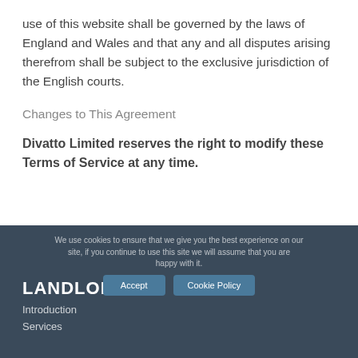use of this website shall be governed by the laws of England and Wales and that any and all disputes arising therefrom shall be subject to the exclusive jurisdiction of the English courts.
Changes to This Agreement
Divatto Limited reserves the right to modify these Terms of Service at any time.
We use cookies to ensure that we give you the best experience on our site, if you continue to use this site we will assume that you are happy with it.
Accept
Cookie Policy
LANDLORDS
Introduction
Services